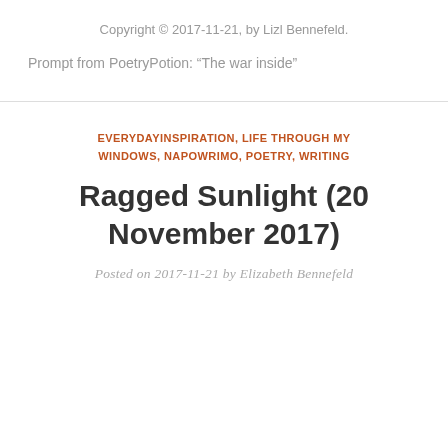Copyright © 2017-11-21, by Lizl Bennefeld.
Prompt from PoetryPotion: “The war inside”
EVERYDAYINSPIRATION, LIFE THROUGH MY WINDOWS, NAPOWRIMO, POETRY, WRITING
Ragged Sunlight (20 November 2017)
Posted on 2017-11-21 by Elizabeth Bennefeld